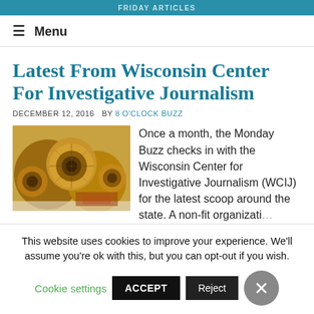FRIDAY ARTICLES
≡ Menu
Latest From Wisconsin Center For Investigative Journalism
DECEMBER 12, 2016   BY 8 O'CLOCK BUZZ
[Figure (photo): Close-up photo of dried mushrooms or fungi showing cross-sections with intricate brown and yellow textures]
Once a month, the Monday Buzz checks in with the Wisconsin Center for Investigative Journalism (WCIJ) for the latest scoop around the state. A non-fit organization
This website uses cookies to improve your experience. We'll assume you're ok with this, but you can opt-out if you wish.
Cookie settings   ACCEPT   Reject